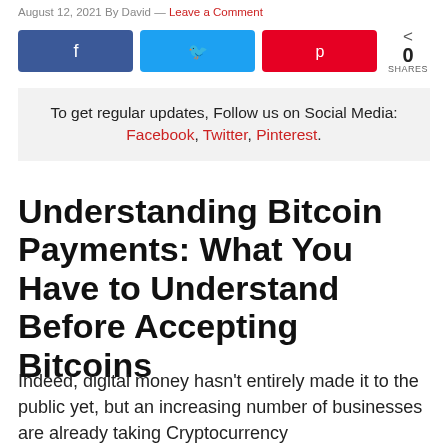August 12, 2021 By David — Leave a Comment
[Figure (infographic): Social share buttons: Facebook (blue), Twitter (blue), Pinterest (red), and a share count showing 0 SHARES]
To get regular updates, Follow us on Social Media: Facebook, Twitter, Pinterest.
Understanding Bitcoin Payments: What You Have to Understand Before Accepting Bitcoins
Indeed, digital money hasn't entirely made it to the public yet, but an increasing number of businesses are already taking Cryptocurrency